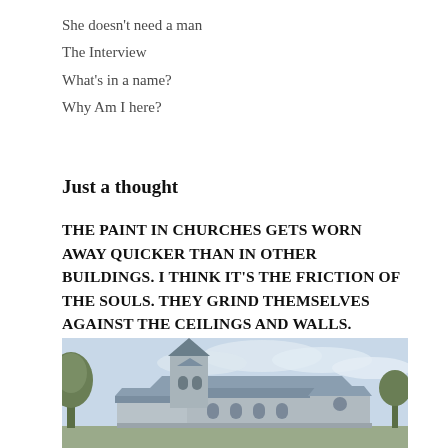She doesn’t need a man
The Interview
What’s in a name?
Why Am I here?
Just a thought
THE PAINT IN CHURCHES GETS WORN AWAY QUICKER THAN IN OTHER BUILDINGS. I THINK IT’S THE FRICTION OF THE SOULS. THEY GRIND THEMSELVES AGAINST THE CEILINGS AND WALLS.
[Figure (photo): Photograph of a stone church with a tall steeple/tower on the left, blue-grey slate roofs, arched windows, trees visible on the left side, overcast sky in the background.]